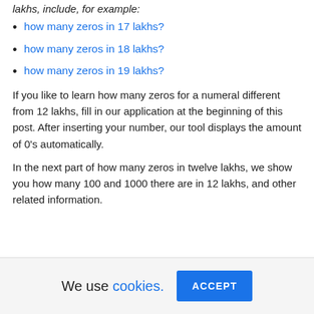lakhs, include, for example:
how many zeros in 17 lakhs?
how many zeros in 18 lakhs?
how many zeros in 19 lakhs?
If you like to learn how many zeros for a numeral different from 12 lakhs, fill in our application at the beginning of this post. After inserting your number, our tool displays the amount of 0's automatically.
In the next part of how many zeros in twelve lakhs, we show you how many 100 and 1000 there are in 12 lakhs, and other related information.
We use cookies. ACCEPT